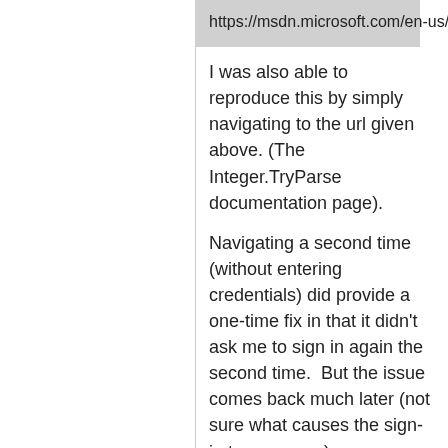https://msdn.microsoft.com/en-us/library/f02979c7(v=vs.110).aspx
I was also able to reproduce this by simply navigating to the url given above. (The Integer.TryParse documentation page).
Navigating a second time (without entering credentials) did provide a one-time fix in that it didn't ask me to sign in again the second time. But the issue comes back much later (not sure what causes the sign-in to reappear.)
I'm using Google Chrome (40.0.2214.94 m) on Windows 7 at the moment.